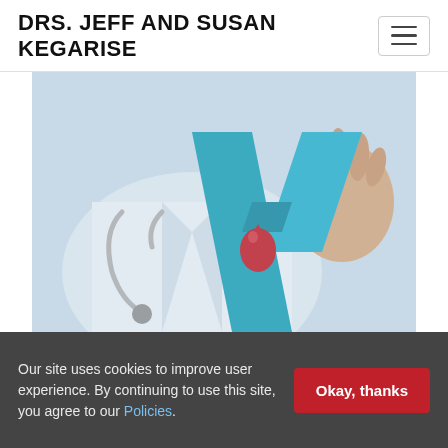DRS. JEFF AND SUSAN KEGARISE
[Figure (photo): Doctor in white coat holding a teal awareness ribbon with a red blood drop symbol, representing Diabetic Eye Disease Awareness Month.]
November is Diabetic Eye Disease Awareness Month. Approximately 34.2 million Americans have been diagnosed with
Our site uses cookies to improve user experience. By continuing to use this site, you agree to our Policies.